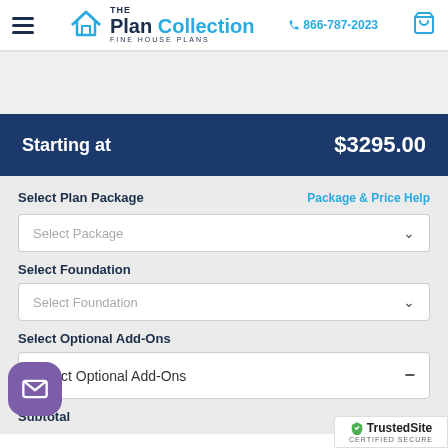The Plan Collection - Fine House Plans | 866-787-2023
Starting at   $3295.00
Select Plan Package
Package & Price Help
Select Package
Select Foundation
Select Foundation
Select Optional Add-Ons
Select Optional Add-Ons
Subtotal